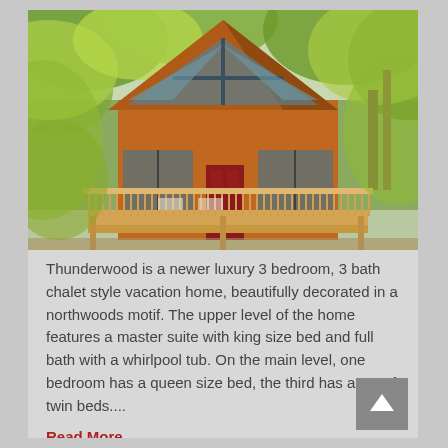[Figure (photo): Exterior photo of Thunderwood chalet-style vacation home: a wooden A-frame/chalet with large triangular windows, a red front door, green glass panels, a light wood deck with spindle railing in the foreground, surrounded by leafy green trees in summer.]
Thunderwood is a newer luxury 3 bedroom, 3 bath chalet style vacation home, beautifully decorated in a northwoods motif. The upper level of the home features a master suite with king size bed and full bath with a whirlpool tub. On the main level, one bedroom has a queen size bed, the third has a set of twin beds....
Read More